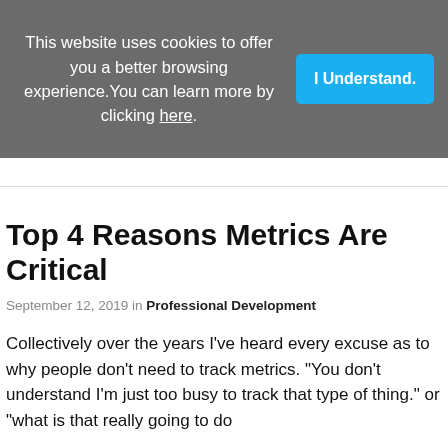This website uses cookies to offer you a better browsing experience. You can learn more by clicking here.
Top 4 Reasons Metrics Are Critical
September 12, 2019 in Professional Development
Collectively over the years I've heard every excuse as to why people don't need to track metrics. "You don't understand I'm just too busy to track that type of thing." or "what is that really going to do